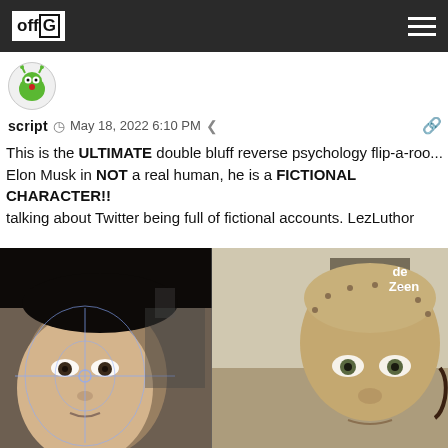offG [logo] [hamburger menu]
[Figure (other): User avatar - circular profile icon showing a green cartoon monster/creature logo]
script  May 18, 2022 6:10 PM  [share icon] [link icon]
This is the ULTIMATE double bluff reverse psychology flip-a-roo... Elon Musk in NOT a real human, he is a FICTIONAL CHARACTER!! talking about Twitter being full of fictional accounts. LezLuthor
[Figure (photo): Split image: left side shows a person with face tracking crosshair/grid overlay applied to their Asian face; right side shows a realistic humanoid robot or mask head (de Zeen watermark visible in top right corner) resembling Elon Musk]